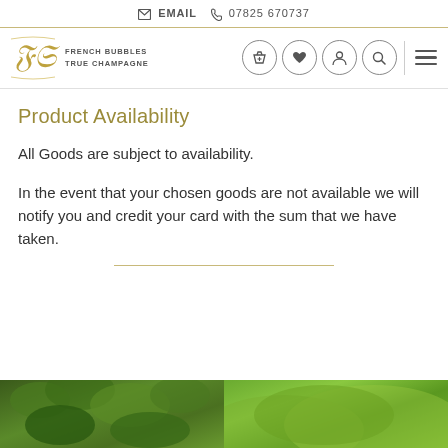EMAIL  07825 670737
[Figure (logo): French Bubbles True Champagne logo with stylized monogram and navigation icons (basket, heart, person, search, hamburger menu)]
Product Availability
All Goods are subject to availability.
In the event that your chosen goods are not available we will notify you and credit your card with the sum that we have taken.
[Figure (photo): Vineyard landscape photos showing green vines and rolling hills]